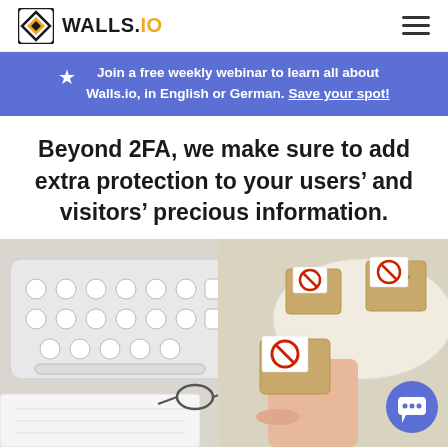WALLS.IO
Join a free weekly webinar to learn all about Walls.io, in English or German. Save your spot!
Beyond 2FA, we make sure to add extra protection to your users’ and visitors’ precious information.
[Figure (photo): Photo showing a white keyboard on the left, glasses and paper, and on the right a hand holding cookies/biscuits in a container with red prohibition signs on small cards placed on top of each cookie.]